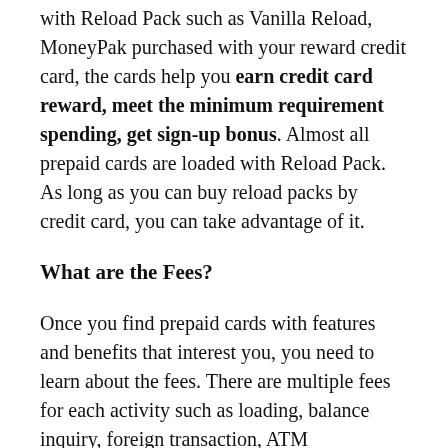with Reload Pack such as Vanilla Reload, MoneyPak purchased with your reward credit card, the cards help you earn credit card reward, meet the minimum requirement spending, get sign-up bonus. Almost all prepaid cards are loaded with Reload Pack. As long as you can buy reload packs by credit card, you can take advantage of it.
What are the Fees?
Once you find prepaid cards with features and benefits that interest you, you need to learn about the fees. There are multiple fees for each activity such as loading, balance inquiry, foreign transaction, ATM withdrawal, monthly maintenance fee, etc. Before opening an account, imagine how you use the card and make a list of fees that you may be going to be charged. Are these fees are acceptable? Almost all prepaid card charge a monthly